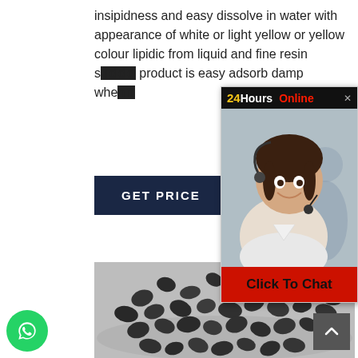insipidness and easy dissolve in water with appearance of white or light yellow or yellow colour lipidic from liquid and fine resin s... product is easy adsorb damp whe...
[Figure (other): Dark button labeled GET PRICE on dark navy background]
[Figure (infographic): 24Hours Online chat popup overlay with woman wearing headset, Click To Chat red button]
[Figure (photo): Photo of dark granules or pebbles (activated carbon) on a plate against light grey background]
[Figure (logo): WhatsApp green circle icon button in bottom left corner]
[Figure (other): Back to top dark grey square button with upward chevron in bottom right corner]